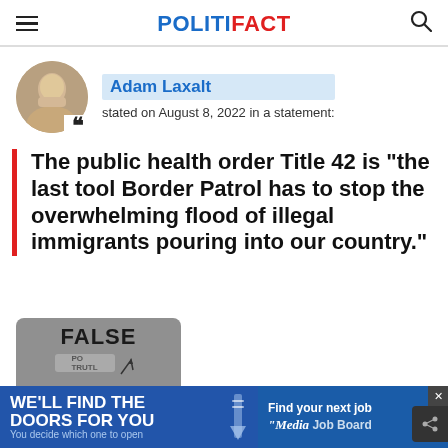POLITIFACT
Adam Laxalt stated on August 8, 2022 in a statement:
The public health order Title 42 is "the last tool Border Patrol has to stop the overwhelming flood of illegal immigrants pouring into our country."
[Figure (infographic): PolitiFact FALSE rating meter gauge]
[Figure (infographic): Advertisement banner: WE'LL FIND THE DOORS FOR YOU / Find your next job / Media Job Board]